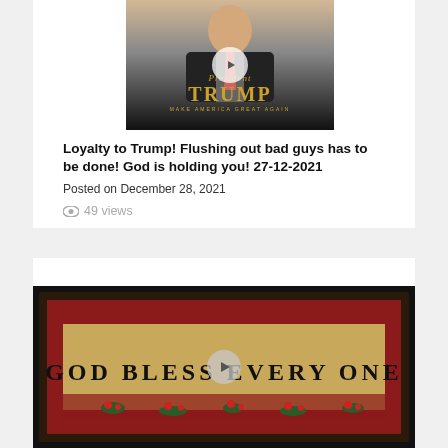[Figure (photo): Video thumbnail showing President Trump saluting with gold text 'President TRUMP MAKE AMERICA GREAT AGAIN']
Loyalty to Trump! Flushing out bad guys has to be done! God is holding you! 27-12-2021
Posted on December 28, 2021
49 views
[Figure (photo): Video thumbnail showing a framed art piece with text 'GOD BLESS EVERY ONE' with floral decorations on a red and beige background]